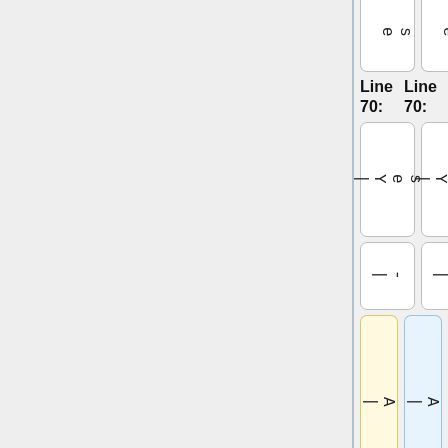| | e s | | e s |
| Line 70: | Line 70: |
| | Y e s | | Y e s |
| | - | | - |
| | A u t h o r i s | | A u t h o r i s |